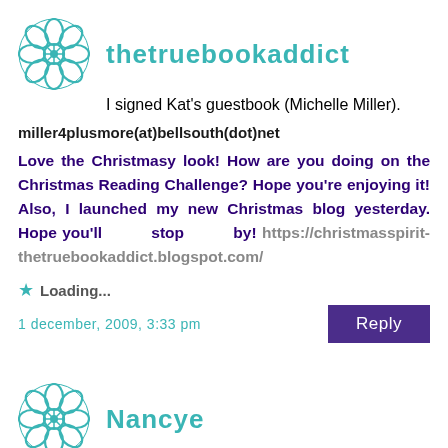[Figure (illustration): Decorative teal snowflake/mandala avatar icon for thetruebookaddict]
thetruebookaddict
I signed Kat's guestbook (Michelle Miller).
miller4plusmore(at)bellsouth(dot)net
Love the Christmasy look! How are you doing on the Christmas Reading Challenge? Hope you're enjoying it! Also, I launched my new Christmas blog yesterday. Hope you'll stop by! https://christmasspirit-thetruebookaddict.blogspot.com/
Loading...
1 december, 2009, 3:33 pm
[Figure (illustration): Decorative teal snowflake/mandala avatar icon for Nancye]
Nancye
I signed the Guestbook (I also signed up for her newsletter, and entered the contest on her